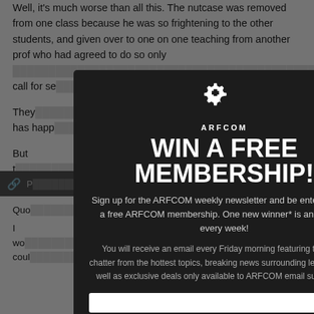Well, it's much worse than all this. The nutcase was removed from one class because he was so frightening to the other students, and given over to one on one teaching from another prof who had agreed to do so only ... to call for se...
They ... t has happ...
But t... n all the h...
I can...
I thin...
[Figure (screenshot): ARFCOM modal popup with dark background. Logo at top center (gear icon with ARFCOM text), X close button top right. Large white heading 'WIN A FREE MEMBERSHIP!' followed by text: 'Sign up for the ARFCOM weekly newsletter and be entered to win a free ARFCOM membership. One new winner* is announced every week!' and 'You will receive an email every Friday morning featuring the latest chatter from the hottest topics, breaking news surrounding legislation, as well as exclusive deals only available to ARFCOM email subscribers.' Input field at bottom.]
Quo... I wo... coul...